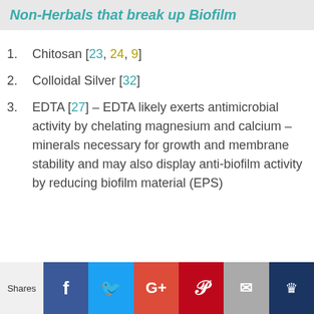Non-Herbals that break up Biofilm
Chitosan [23, 24, 9]
Colloidal Silver [32]
EDTA [27] – EDTA likely exerts antimicrobial activity by chelating magnesium and calcium – minerals necessary for growth and membrane stability and may also display anti-biofilm activity by reducing biofilm material (EPS)